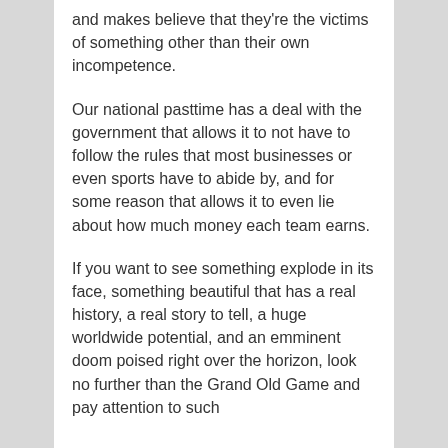and makes believe that they're the victims of something other than their own incompetence.
Our national pasttime has a deal with the government that allows it to not have to follow the rules that most businesses or even sports have to abide by, and for some reason that allows it to even lie about how much money each team earns.
If you want to see something explode in its face, something beautiful that has a real history, a real story to tell, a huge worldwide potential, and an emminent doom poised right over the horizon, look no further than the Grand Old Game and pay attention to such